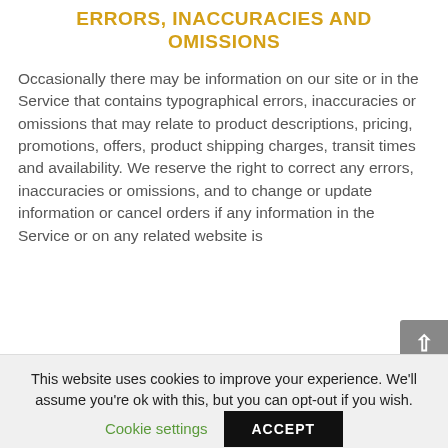ERRORS, INACCURACIES AND OMISSIONS
Occasionally there may be information on our site or in the Service that contains typographical errors, inaccuracies or omissions that may relate to product descriptions, pricing, promotions, offers, product shipping charges, transit times and availability. We reserve the right to correct any errors, inaccuracies or omissions, and to change or update information or cancel orders if any information in the Service or on any related website is
This website uses cookies to improve your experience. We'll assume you're ok with this, but you can opt-out if you wish.
Cookie settings    ACCEPT